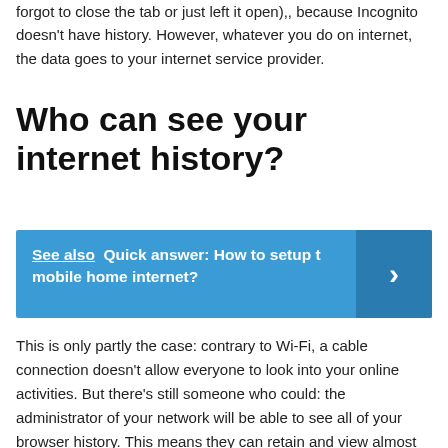forgot to close the tab or just left it open),, because Incognito doesn't have history. However, whatever you do on internet, the data goes to your internet service provider.
Who can see your internet history?
See also  Quick answer: How to setup t mobile home internet?
This is only partly the case: contrary to Wi-Fi, a cable connection doesn't allow everyone to look into your online activities. But there's still someone who could: the administrator of your network will be able to see all of your browser history. This means they can retain and view almost every webpage you've visited.